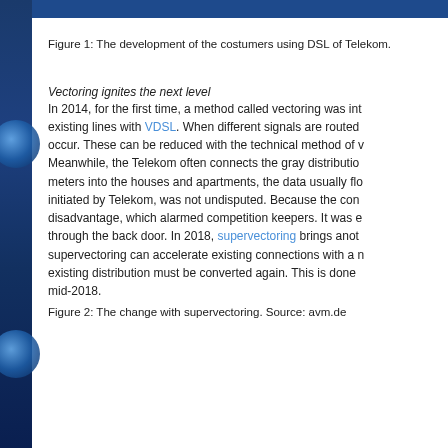Figure 1: The development of the costumers using DSL of Telekom.
Vectoring ignites the next level
In 2014, for the first time, a method called vectoring was introduced for existing lines with VDSL. When different signals are routed occur. These can be reduced with the technical method of v Meanwhile, the Telekom often connects the gray distributio meters into the houses and apartments, the data usually flo initiated by Telekom, was not undisputed. Because the con disadvantage, which alarmed competition keepers. It was e through the back door. In 2018, supervectoring brings anot supervectoring can accelerate existing connections with a n existing distribution must be converted again. This is done mid-2018.
Figure 2: The change with supervectoring. Source: avm.de